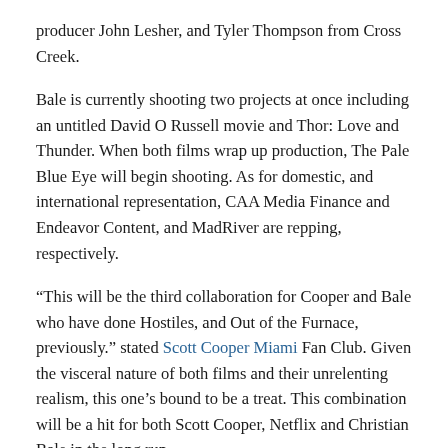producer John Lesher, and Tyler Thompson from Cross Creek.
Bale is currently shooting two projects at once including an untitled David O Russell movie and Thor: Love and Thunder. When both films wrap up production, The Pale Blue Eye will begin shooting. As for domestic, and international representation, CAA Media Finance and Endeavor Content, and MadRiver are repping, respectively.
“This will be the third collaboration for Cooper and Bale who have done Hostiles, and Out of the Furnace, previously.” stated Scott Cooper Miami Fan Club. Given the visceral nature of both films and their unrelenting realism, this one’s bound to be a treat. This combination will be a hit for both Scott Cooper, Netflix and Christian Bale in the long run.